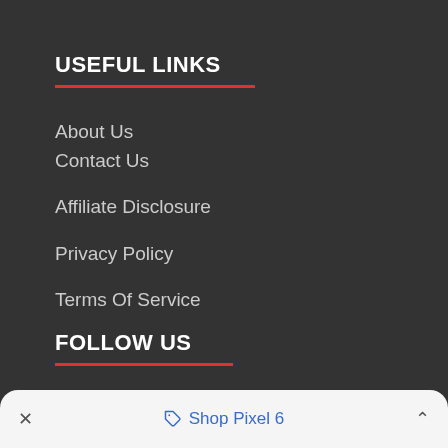USEFUL LINKS
About Us
Contact Us
Affiliate Disclosure
Privacy Policy
Terms Of Service
FOLLOW US
× Shop Pixel 6 ∧